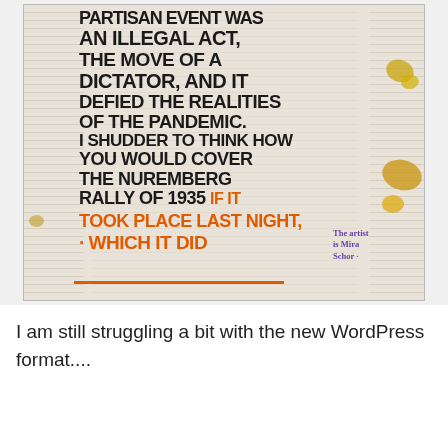[Figure (photo): Photograph of a handwritten protest artwork on newspaper. Large black block-letter text reads: 'WHAT BE PARTISAN EVENT WAS AN ILLEGAL ACT, THE MOVE OF A DICTATOR, AND IT DEFIED THE REALITIES OF THE PANDEMIC. I SHUDDER TO THINK HOW YOU WOULD COVER THE NUREMBERG RALLY OF 1935 IF IT TOOK PLACE LAST NIGHT. WHICH IT DID'. The orange text portions read 'IF IT TOOK PLACE LAST NIGHT. WHICH IT DID'. Attribution text reads 'The artist is Mira Schor'. The artwork is placed on a table with newspaper clippings and paint splatters visible.]
I am still struggling a bit with the new WordPress format....